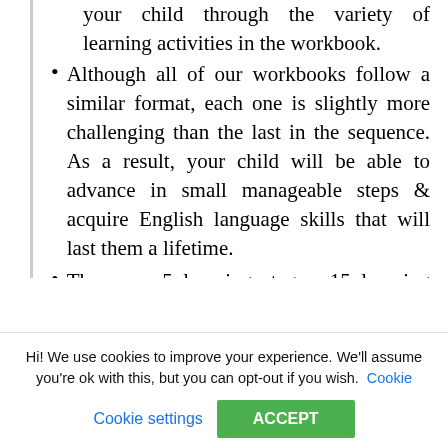your child through the variety of learning activities in the workbook.
Although all of our workbooks follow a similar format, each one is slightly more challenging than the last in the sequence. As a result, your child will be able to advance in small manageable steps & acquire English language skills that will last them a lifetime.
There are 5 learning stages, 15 learning levels and 600 lessons in the...
Hi! We use cookies to improve your experience. We'll assume you're ok with this, but you can opt-out if you wish. Cookie settings ACCEPT